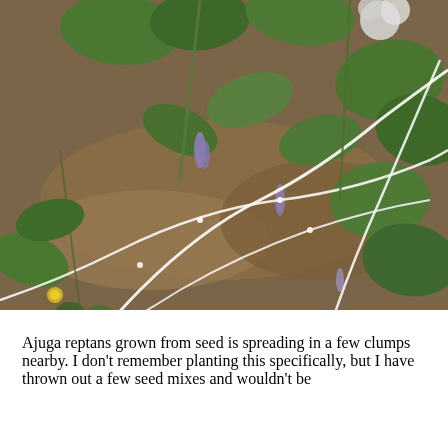[Figure (photo): Close-up photograph of ground-level plants including Ajuga reptans and other mixed ground cover plants and weeds growing in soil, with white rope or cord visible running through the vegetation. Small purple flowers are visible among the green foliage.]
Ajuga reptans grown from seed is spreading in a few clumps nearby. I don't remember planting this specifically, but I have thrown out a few seed mixes and wouldn't be surprised if this came in that way.